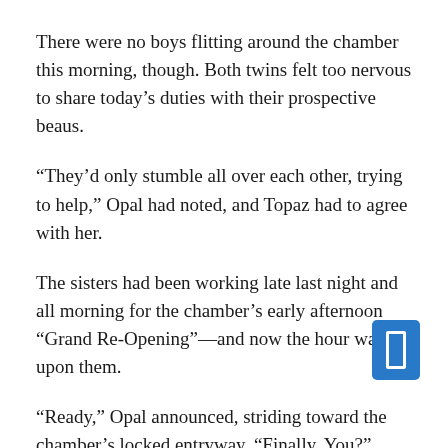There were no boys flitting around the chamber this morning, though.  Both twins felt too nervous to share today's duties with their prospective beaus.
“They’d only stumble all over each other, trying to help,” Opal had noted, and Topaz had to agree with her.
The sisters had been working late last night and all morning for the chamber’s early afternoon “Grand Re-Opening”—and now the hour was upon them.
“Ready,” Opal announced, striding toward the chamber’s locked entryway.  “Finally.  You?”
Topaz nodded. “As ready as I’ll ever be.”
Opal took a deep breath and unbolted the big double door that served as the Chamber’s entrance.
Topaz half expected to find Victoria Price waiting to pounce—